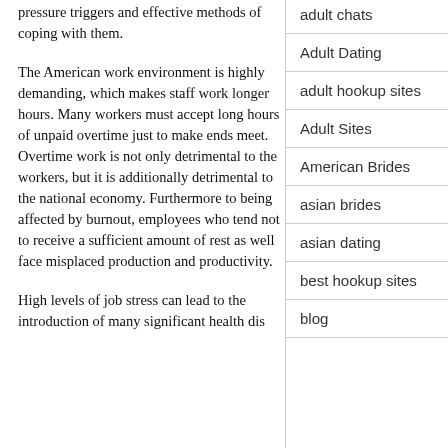pressure triggers and effective methods of coping with them.
The American work environment is highly demanding, which makes staff work longer hours. Many workers must accept long hours of unpaid overtime just to make ends meet. Overtime work is not only detrimental to the workers, but it is additionally detrimental to the national economy. Furthermore to being affected by burnout, employees who tend not to receive a sufficient amount of rest as well face misplaced production and productivity.
High levels of job stress can lead to the introduction of many significant health disorders.
adult chats
Adult Dating
adult hookup sites
Adult Sites
American Brides
asian brides
asian dating
best hookup sites
blog